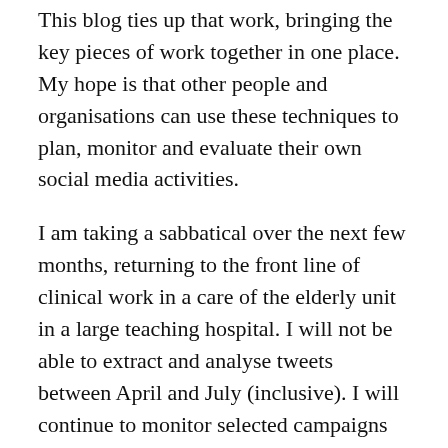This blog ties up that work, bringing the key pieces of work together in one place. My hope is that other people and organisations can use these techniques to plan, monitor and evaluate their own social media activities.
I am taking a sabbatical over the next few months, returning to the front line of clinical work in a care of the elderly unit in a large teaching hospital. I will not be able to extract and analyse tweets between April and July (inclusive). I will continue to monitor selected campaigns that relate to the clinical attachment (eg #EndPJParalysis and #EndPJParalysis which recently announced a 70 day campaign, beginning 17 April 2018).